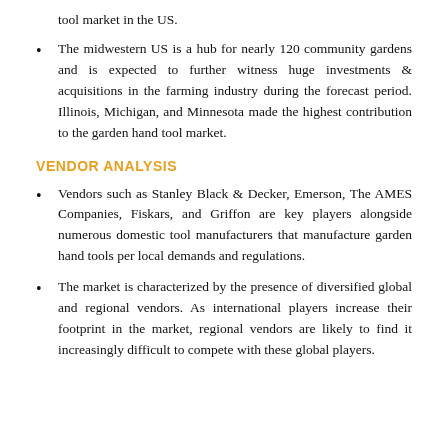tool market in the US.
The midwestern US is a hub for nearly 120 community gardens and is expected to further witness huge investments & acquisitions in the farming industry during the forecast period. Illinois, Michigan, and Minnesota made the highest contribution to the garden hand tool market.
VENDOR ANALYSIS
Vendors such as Stanley Black & Decker, Emerson, The AMES Companies, Fiskars, and Griffon are key players alongside numerous domestic tool manufacturers that manufacture garden hand tools per local demands and regulations.
The market is characterized by the presence of diversified global and regional vendors. As international players increase their footprint in the market, regional vendors are likely to find it increasingly difficult to compete with these global players.